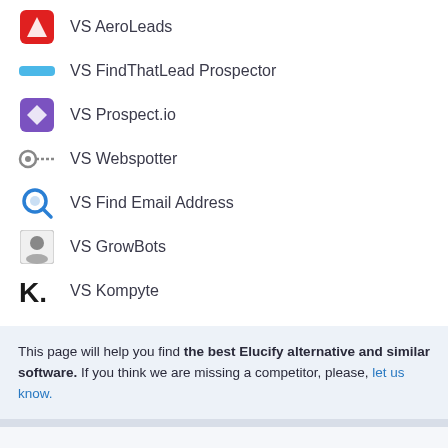VS AeroLeads
VS FindThatLead Prospector
VS Prospect.io
VS Webspotter
VS Find Email Address
VS GrowBots
VS Kompyte
This page will help you find the best Elucify alternative and similar software. If you think we are missing a competitor, please, let us know.
Status Page!
Is Elucify down?